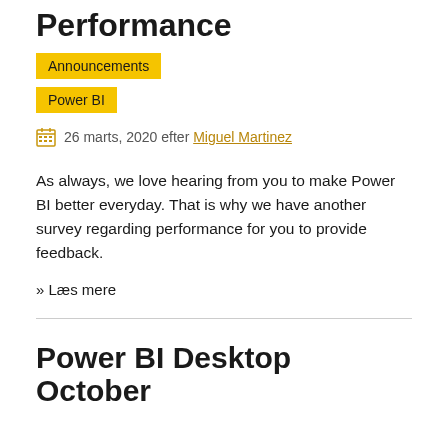Performance
Announcements
Power BI
26 marts, 2020 efter Miguel Martinez
As always, we love hearing from you to make Power BI better everyday. That is why we have another survey regarding performance for you to provide feedback.
» Læs mere
Power BI Desktop October